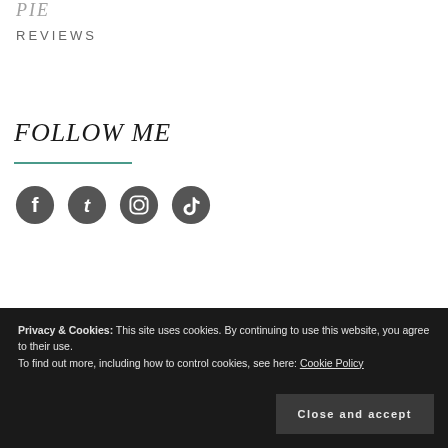PIE
REVIEWS
FOLLOW ME
[Figure (other): Social media icons: Facebook, Tumblr, Instagram, TikTok]
Privacy & Cookies: This site uses cookies. By continuing to use this website, you agree to their use.
To find out more, including how to control cookies, see here: Cookie Policy
Close and accept